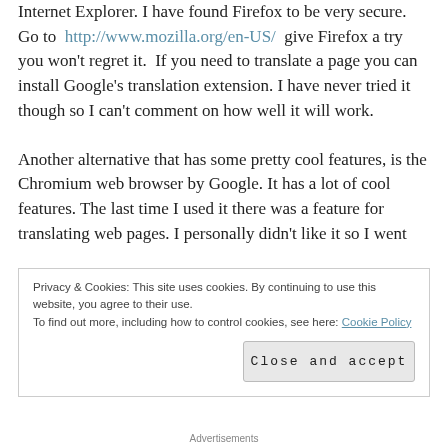Internet Explorer. I have found Firefox to be very secure. Go to http://www.mozilla.org/en-US/ give Firefox a try you won't regret it. If you need to translate a page you can install Google's translation extension. I have never tried it though so I can't comment on how well it will work.

Another alternative that has some pretty cool features, is the Chromium web browser by Google. It has a lot of cool features. The last time I used it there was a feature for translating web pages. I personally didn't like it so I went
Privacy & Cookies: This site uses cookies. By continuing to use this website, you agree to their use.
To find out more, including how to control cookies, see here: Cookie Policy
Close and accept
Advertisements